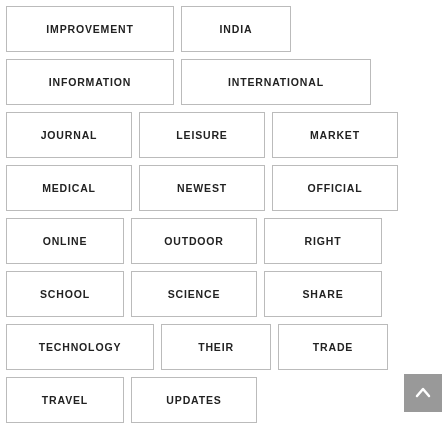IMPROVEMENT
INDIA
INFORMATION
INTERNATIONAL
JOURNAL
LEISURE
MARKET
MEDICAL
NEWEST
OFFICIAL
ONLINE
OUTDOOR
RIGHT
SCHOOL
SCIENCE
SHARE
TECHNOLOGY
THEIR
TRADE
TRAVEL
UPDATES